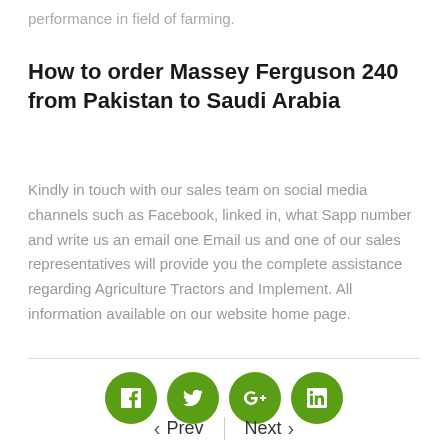performance in field of farming.
How to order Massey Ferguson 240 from Pakistan to Saudi Arabia
Kindly in touch with our sales team on social media channels such as Facebook, linked in, what Sapp number and write us an email one Email us and one of our sales representatives will provide you the complete assistance regarding Agriculture Tractors and Implement. All information available on our website home page.
[Figure (infographic): Four green circular social media icon buttons: Facebook (f), Twitter (bird), Google+ (G+), LinkedIn (in)]
< Prev | Next >